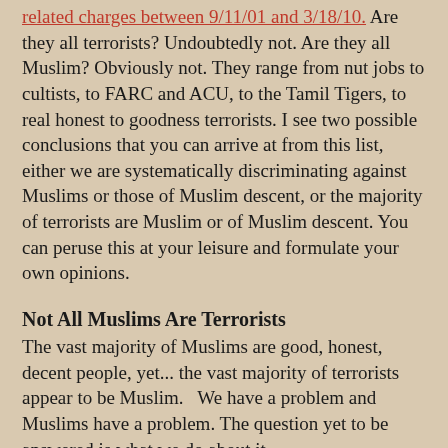related charges between 9/11/01 and 3/18/10.  Are they all terrorists?  Undoubtedly not. Are they all Muslim?  Obviously not.  They range from nut jobs to cultists, to FARC and ACU, to the Tamil Tigers, to real honest to goodness terrorists.  I see two possible conclusions that you can arrive at from this list, either we are systematically discriminating against Muslims or those of Muslim descent,  or the majority of terrorists are Muslim or of Muslim descent.  You can peruse this at your leisure and formulate your own opinions.
Not All Muslims Are Terrorists
The vast majority of Muslims are good, honest, decent people, yet... the vast majority of terrorists appear to be Muslim.   We have a problem and Muslims have a problem.  The question yet to be answered is what we do about it.
What the answer is not
I can't tell you what the answer is, but I can tell you what